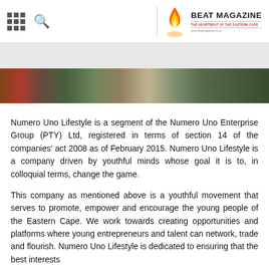BEAT MAGAZINE | THE HEARTBEAT OF THE EASTERN CAPE | www.beatmagazine.co.za
[Figure (photo): Navigation website header with grid icon, search icon on left; flame logo and Beat Magazine branding on right]
[Figure (photo): Gray advertisement banner area]
[Figure (photo): Dark horizontal photo banner showing people with a laptop, with text overlay partially visible]
Numero Uno Lifestyle is a segment of the Numero Uno Enterprise Group (PTY) Ltd, registered in terms of section 14 of the companies' act 2008 as of February 2015. Numero Uno Lifestyle is a company driven by youthful minds whose goal it is to, in colloquial terms, change the game.
This company as mentioned above is a youthful movement that serves to promote, empower and encourage the young people of the Eastern Cape. We work towards creating opportunities and platforms where young entrepreneurs and talent can network, trade and flourish. Numero Uno Lifestyle is dedicated to ensuring that the best interests